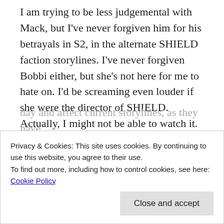I am trying to be less judgemental with Mack, but I've never forgiven him for his betrayals in S2, in the alternate SHIELD faction storylines. I've never forgiven Bobbi either, but she's not here for me to hate on. I'd be screaming even louder if she were the director of SHIELD. Actually, I might not be able to watch it. Mack at least has balancing positive characteristics, like loving Elena and Hope and his shotgun ax, that Bobbi doesn't have.
From kidnapping Lance Hunter and cuffing him
day and affect current storylines, as they have
Privacy & Cookies: This site uses cookies. By continuing to use this website, you agree to their use.
To find out more, including how to control cookies, see here: Cookie Policy